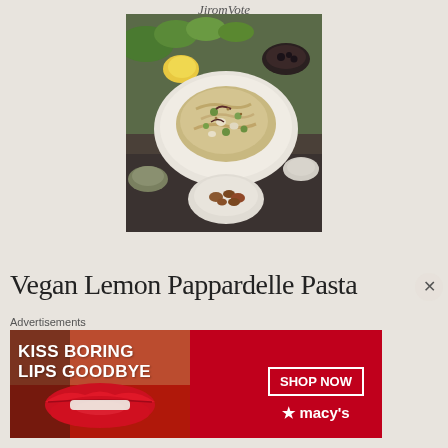JiromVote
[Figure (photo): A white plate of pasta (pappardelle) with peas, beans, and herbs on a dark wooden table, with bowls of ingredients around it including greens, lemon, olives, and roasted nuts]
Print
Vegan Lemon Pappardelle Pasta
Advertisements
[Figure (photo): Macy's advertisement banner with red background showing woman's lips, text reading 'KISS BORING LIPS GOODBYE' with a SHOP NOW button and Macy's star logo]